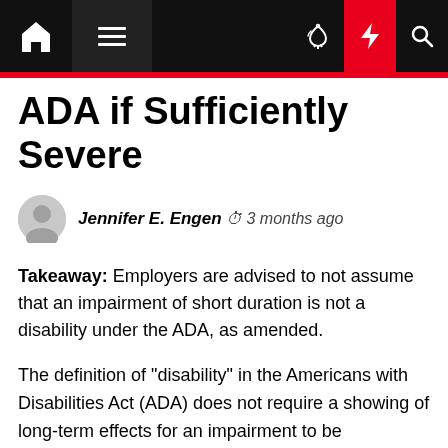Navigation bar with home, menu, dark mode, lightning/breaking, and search icons
ADA if Sufficiently Severe
Jennifer E. Engen  3 months ago
Takeaway: Employers are advised to not assume that an impairment of short duration is not a disability under the ADA, as amended.
The definition of "disability" in the Americans with Disabilities Act (ADA) does not require a showing of long-term effects for an impairment to be considered substantially limiting, the 9th U.S. Circuit Court of Appeals ruled. The plaintiff's inability to perform major life tasks for more than two months